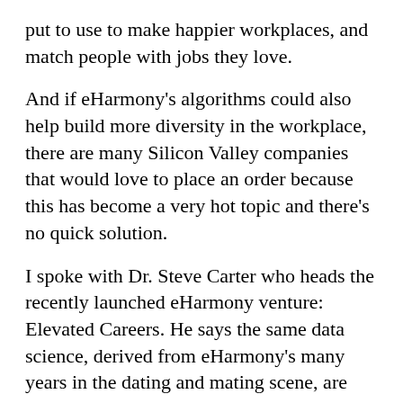put to use to make happier workplaces, and match people with jobs they love.
And if eHarmony's algorithms could also help build more diversity in the workplace, there are many Silicon Valley companies that would love to place an order because this has become a very hot topic and there's no quick solution.
I spoke with Dr. Steve Carter who heads the recently launched eHarmony venture: Elevated Careers. He says the same data science, derived from eHarmony's many years in the dating and mating scene, are applicable to our relationship with work.
Carter says the same methods for predicting romantic bliss can predict compatibility between worker and workplace.